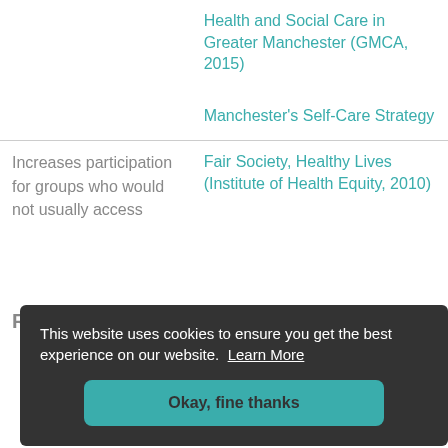|  |  |
| --- | --- |
|  | Health and Social Care in Greater Manchester (GMCA, 2015)

Manchester's Self-Care Strategy |
| Increases participation for groups who would not usually access | Fair Society, Healthy Lives (Institute of Health Equity, 2010) |
This website uses cookies to ensure you get the best experience on our website. Learn More
Okay, fine thanks